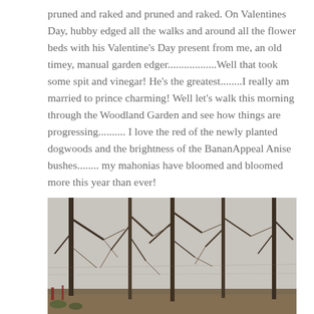pruned and raked and pruned and raked. On Valentines Day, hubby edged all the walks and around all the flower beds with his Valentine's Day present from me, an old timey, manual garden edger..................Well that took some spit and vinegar! He's the greatest........I really am married to prince charming! Well let's walk this morning through the Woodland Garden and see how things are progressing.......... I love the red of the newly planted dogwoods and the brightness of the BananAppeal Anise bushes........ my mahonias have bloomed and bloomed more this year than ever!
[Figure (photo): A woodland garden scene showing bare winter trees with thin branches intertwining against a grey sky, with some ground cover visible at the bottom.]